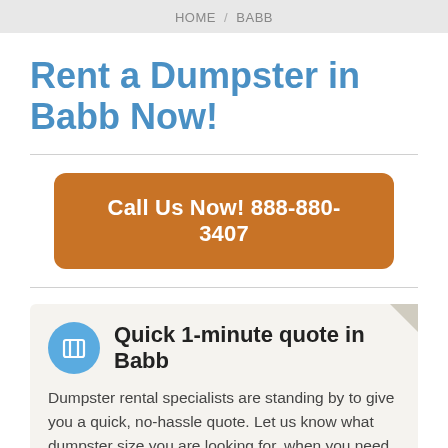HOME / BABB
Rent a Dumpster in Babb Now!
Call Us Now! 888-880-3407
Quick 1-minute quote in Babb
Dumpster rental specialists are standing by to give you a quick, no-hassle quote. Let us know what dumpster size you are looking for, when you need it, and what zip code